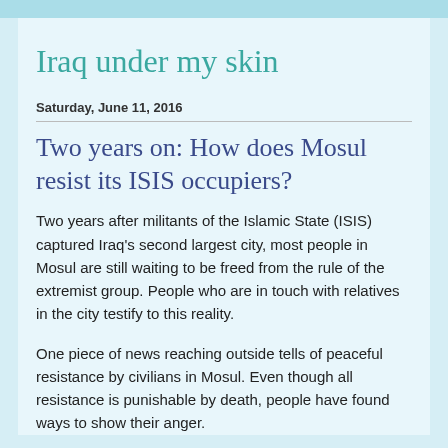Iraq under my skin
Saturday, June 11, 2016
Two years on: How does Mosul resist its ISIS occupiers?
Two years after militants of the Islamic State (ISIS) captured Iraq's second largest city, most people in Mosul are still waiting to be freed from the rule of the extremist group. People who are in touch with relatives in the city testify to this reality.
One piece of news reaching outside tells of peaceful resistance by civilians in Mosul. Even though all resistance is punishable by death, people have found ways to show their anger.